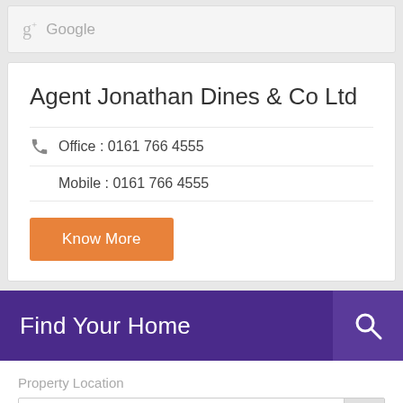g+ Google
Agent Jonathan Dines & Co Ltd
Office : 0161 766 4555
Mobile : 0161 766 4555
Know More
Find Your Home
Property Location
Any